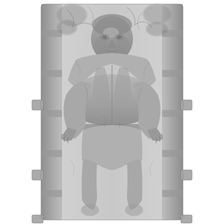[Figure (illustration): A grayscale illustration of Han Solo encased in carbonite — a humanoid figure embedded in a rectangular metallic slab with a textured surface showing the person's face, torso, arms, and legs pressed into the carbonite block. The figure's hands are raised slightly and the face is visible near the top. The slab has ridged vertical edges on both sides with small rectangular protrusions. The overall color palette is silver and dark gray.]